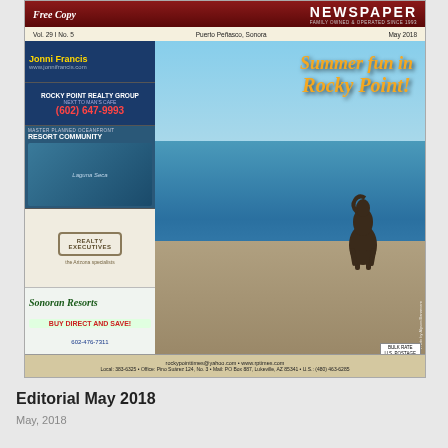[Figure (photo): Newspaper front cover of Rocky Point Times, May 2018, showing a horse running through beach water with the headline 'Summer fun in Rocky Point!' and various advertisements on the left column]
Editorial May 2018
May, 2018